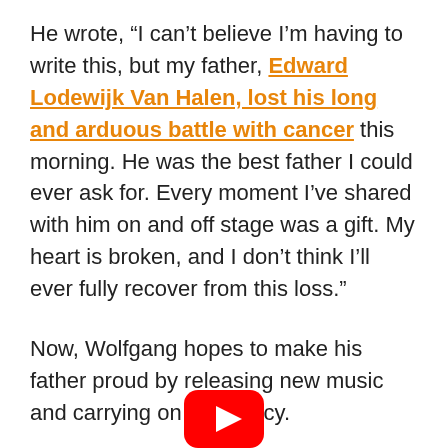He wrote, “I can’t believe I’m having to write this, but my father, Edward Lodewijk Van Halen, lost his long and arduous battle with cancer this morning. He was the best father I could ever ask for. Every moment I’ve shared with him on and off stage was a gift. My heart is broken, and I don’t think I’ll ever fully recover from this loss.”
Now, Wolfgang hopes to make his father proud by releasing new music and carrying on his legacy.
[Figure (logo): YouTube logo icon (red rounded rectangle with white play button triangle), partially visible at bottom center of page]